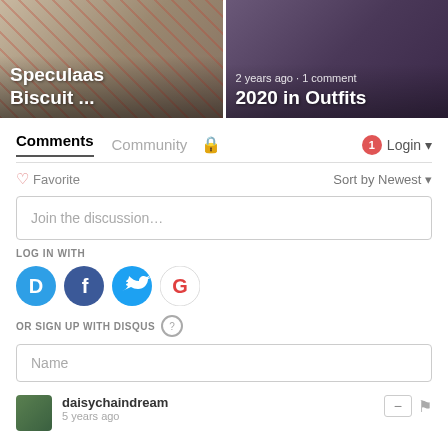[Figure (screenshot): Two blog post cards side by side. Left card: 'Speculaas Biscuit ...' on a patterned background. Right card: '2020 in Outfits' with meta '2 years ago · 1 comment' on a dark background.]
Comments  Community  🔒  1  Login
♡ Favorite    Sort by Newest
Join the discussion…
LOG IN WITH
[Figure (logo): Social login icons: Disqus (blue D), Facebook (dark blue f), Twitter (light blue bird), Google (G)]
OR SIGN UP WITH DISQUS ?
Name
daisychaindream
5 years ago